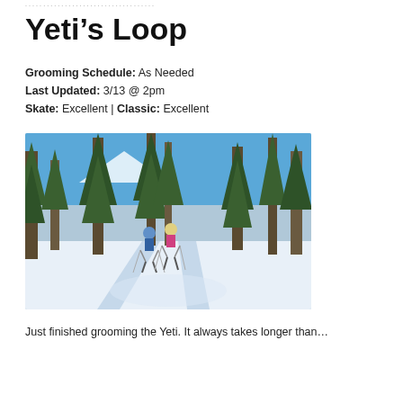... ... ... ... ... ... ... ...
Yeti’s Loop
Grooming Schedule: As Needed
Last Updated: 3/13 @ 2pm
Skate: Excellent  |  Classic: Excellent
[Figure (photo): Two cross-country skiers on a groomed trail through a forest of tall pine trees with blue sky above and snow on the ground.]
Just finished grooming the Yeti. It always takes longer than...